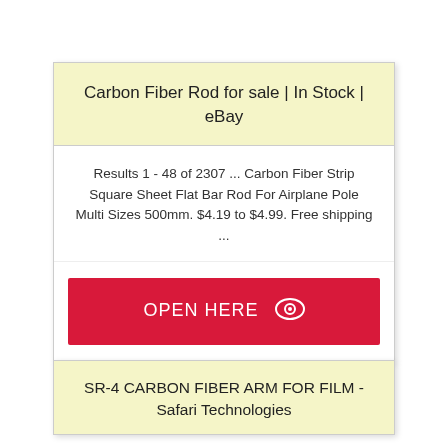Carbon Fiber Rod for sale | In Stock | eBay
Results 1 - 48 of 2307 ... Carbon Fiber Strip Square Sheet Flat Bar Rod For Airplane Pole Multi Sizes 500mm. $4.19 to $4.99. Free shipping ...
OPEN HERE
SR-4 CARBON FIBER ARM FOR FILM - Safari Technologies